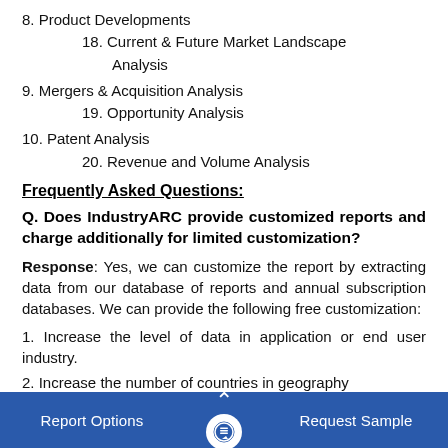8. Product Developments
        18. Current & Future Market Landscape Analysis
9. Mergers & Acquisition Analysis
        19. Opportunity Analysis
10. Patent Analysis
        20. Revenue and Volume Analysis
Frequently Asked Questions:
Q. Does IndustryARC provide customized reports and charge additionally for limited customization?
Response: Yes, we can customize the report by extracting data from our database of reports and annual subscription databases. We can provide the following free customization:
1. Increase the level of data in application or end user industry.
2. Increase the number of countries in geography
Report Options   ^   Request Sample